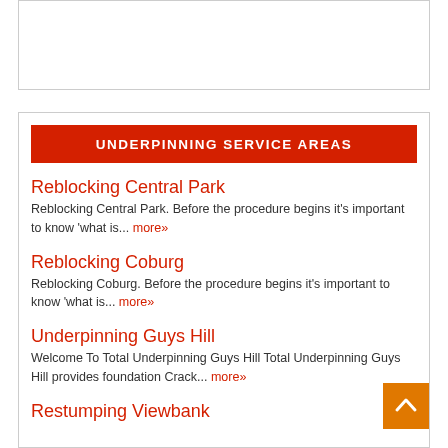UNDERPINNING SERVICE AREAS
Reblocking Central Park — Reblocking Central Park. Before the procedure begins it's important to know 'what is... more»
Reblocking Coburg — Reblocking Coburg. Before the procedure begins it's important to know 'what is... more»
Underpinning Guys Hill — Welcome To Total Underpinning Guys Hill Total Underpinning Guys Hill provides foundation Crack... more»
Restumping Viewbank